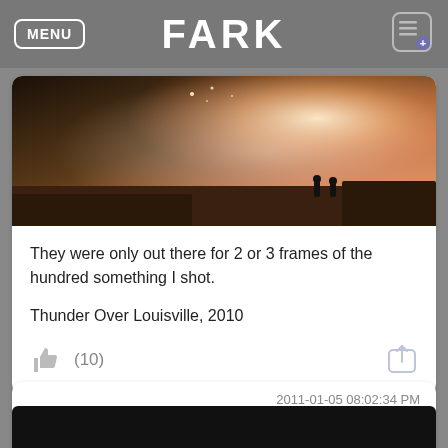MENU | FARK
[Figure (photo): Night photo of fireworks over Louisville with orange and misty glow, silhouettes of people visible]
They were only out there for 2 or 3 frames of the hundred something I shot.
Thunder Over Louisville, 2010
(10)
2011-01-05 08:02:34 PM
kestrana
[Figure (photo): Partial view of dark/black photo at bottom of screen]